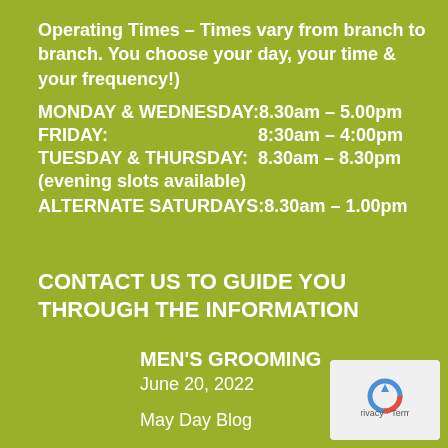Operating Times – Times vary from branch to branch. You choose your day, your time & your frequency!)
MONDAY & WEDNESDAY:    8.30am – 5.00pm
FRIDAY:    8:30am – 4:00pm
TUESDAY & THURSDAY:    8.30am – 8.30pm
(evening slots available)
ALTERNATE SATURDAYS:    8.30am – 1.00pm
CONTACT US TO GUIDE YOU THROUGH THE INFORMATION
MEN'S GROOMING
June 20, 2022
May Day Blog
[Figure (logo): reCAPTCHA logo with arrow icon and Privacy/Terms footer]